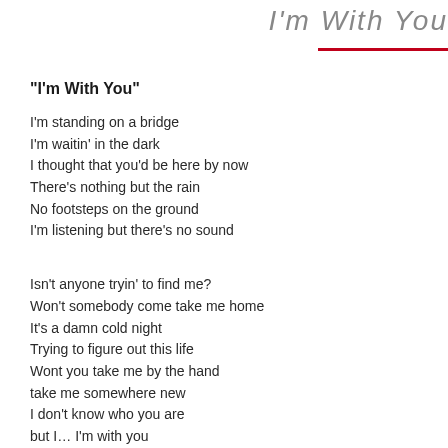I'm With You
“I’m With You”
I’m standing on a bridge
I’m waitin’ in the dark
I thought that you’d be here by now
There’s nothing but the rain
No footsteps on the ground
I’m listening but there’s no sound
Isn’t anyone tryin’ to find me?
Won’t somebody come take me home
It’s a damn cold night
Trying to figure out this life
Wont you take me by the hand
take me somewhere new
I don’t know who you are
but I… I’m with you
I’m looking for a place
searching for a face
is anybody here i know